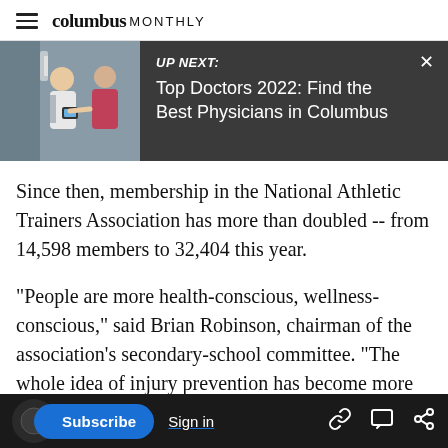columbus MONTHLY
[Figure (screenshot): UP NEXT banner showing a doctor with a patient, with title: Top Doctors 2022: Find the Best Physicians in Columbus]
Since then, membership in the National Athletic Trainers Association has more than doubled -- from 14,598 members to 32,404 this year.
"People are more health-conscious, wellness-conscious," said Brian Robinson, chairman of the association's secondary-school committee. "The whole idea of injury prevention has become more of an issue."
Subscribe  Sign in